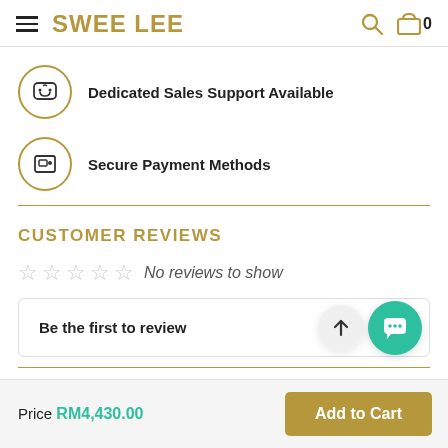SWEE LEE — Search, Cart (0)
Dedicated Sales Support Available
Secure Payment Methods
CUSTOMER REVIEWS
No reviews to show
Be the first to review
Price RM4,430.00
Add to Cart